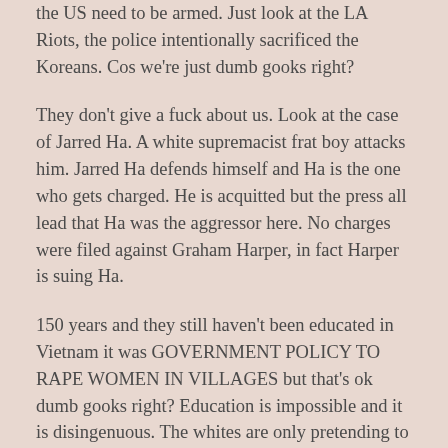the US need to be armed. Just look at the LA Riots, the police intentionally sacrificed the Koreans. Cos we're just dumb gooks right?
They don't give a fuck about us. Look at the case of Jarred Ha. A white supremacist frat boy attacks him. Jarred Ha defends himself and Ha is the one who gets charged. He is acquitted but the press all lead that Ha was the aggressor here. No charges were filed against Graham Harper, in fact Harper is suing Ha.
150 years and they still haven't been educated in Vietnam it was GOVERNMENT POLICY TO RAPE WOMEN IN VILLAGES but that's ok dumb gooks right? Education is impossible and it is disingenuous. The whites are only pretending to be anti racist because their time is nearly over. The smarter ones suddenly realised that they are losing the majority and reigns of power. That the boot will someday be on the other foot. Have you ever heard that